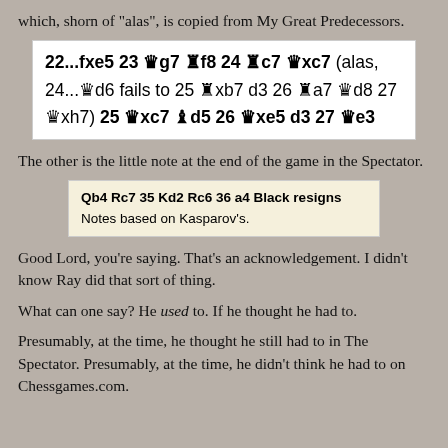which, shorn of "alas", is copied from My Great Predecessors.
[Figure (other): Chess notation box showing: 22...fxe5 23 Wg7 Rf8 24 Rc7 Wxc7 (alas, 24...Wd6 fails to 25 Rxb7 d3 26 Ra7 Wd8 27 Wxh7) 25 Wxc7 Bd5 26 Wxe5 d3 27 We3]
The other is the little note at the end of the game in the Spectator.
[Figure (other): Spectator note box: Qb4 Rc7 35 Kd2 Rc6 36 a4 Black resigns Notes based on Kasparov's.]
Good Lord, you're saying. That's an acknowledgement. I didn't know Ray did that sort of thing.
What can one say? He used to. If he thought he had to.
Presumably, at the time, he thought he still had to in The Spectator. Presumably, at the time, he didn't think he had to on Chessgames.com.